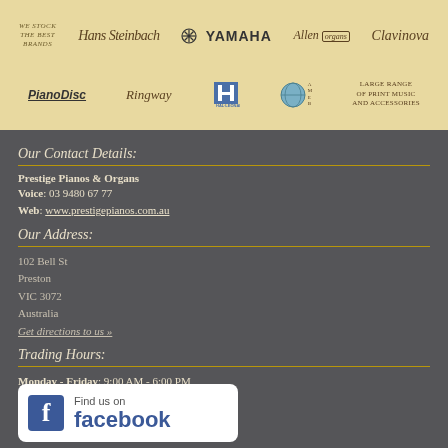[Figure (logo): Brand banner with logos: We Stock The Best Brands, Hans Steinbach, Yamaha, Allen Organs, Clavinova, PianoDisc, Ringway, Hal Leonard, AMEB, Large Range Of Print Music And Accessories]
Our Contact Details:
Prestige Pianos & Organs
Voice: 03 9480 6777
Web: www.prestigepianos.com.au
Our Address:
102 Bell St
Preston
VIC 3072
Australia
Get directions to us »
Trading Hours:
Monday - Friday: 9:00 AM - 6:00 PM
Saturday: 9:00 AM - 5:00 PM
[Figure (logo): Find us on Facebook badge with Facebook logo]